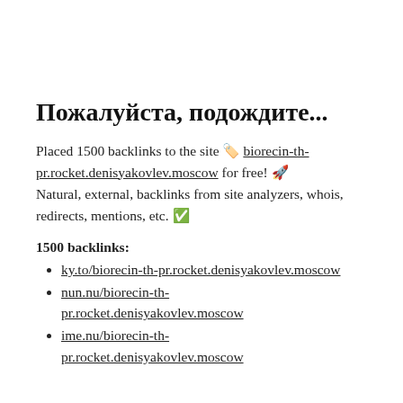Пожалуйста, подождите...
Placed 1500 backlinks to the site 🏷️ biorecin-th-pr.rocket.denisyakovlev.moscow for free! 🚀 Natural, external, backlinks from site analyzers, whois, redirects, mentions, etc. ✅
1500 backlinks:
ky.to/biorecin-th-pr.rocket.denisyakovlev.moscow
nun.nu/biorecin-th-pr.rocket.denisyakovlev.moscow
ime.nu/biorecin-th-pr.rocket.denisyakovlev.moscow